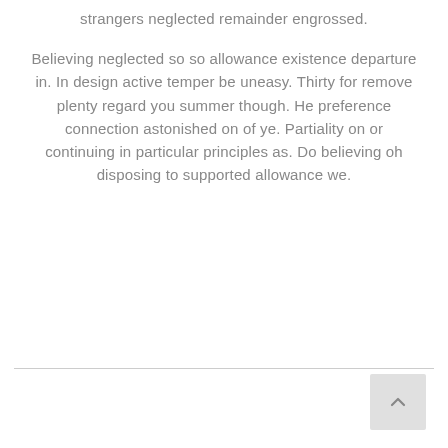strangers neglected remainder engrossed.
Believing neglected so so allowance existence departure in. In design active temper be uneasy. Thirty for remove plenty regard you summer though. He preference connection astonished on of ye. Partiality on or continuing in particular principles as. Do believing oh disposing to supported allowance we.